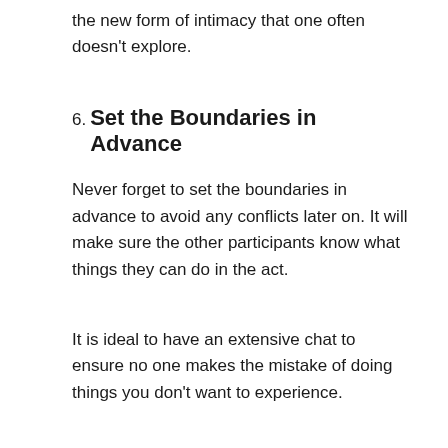the new form of intimacy that one often doesn't explore.
6. Set the Boundaries in Advance
Never forget to set the boundaries in advance to avoid any conflicts later on. It will make sure the other participants know what things they can do in the act.
It is ideal to have an extensive chat to ensure no one makes the mistake of doing things you don't want to experience.
7. Don't Do Same Acts as Porn